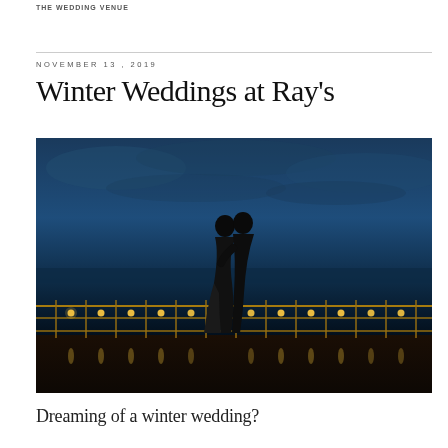THE WEDDING VENUE
NOVEMBER 13, 2019
Winter Weddings at Ray's
[Figure (photo): A couple silhouetted against a dark blue twilight sky and water, standing on a wet dock or deck with illuminated golden railing lights, their reflections visible in the wet surface below.]
Dreaming of a winter wedding?